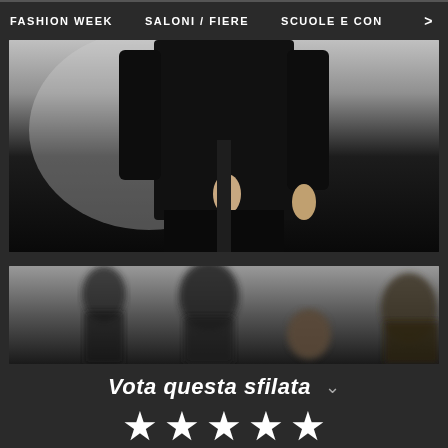FASHION WEEK   SALONI / FIERE   SCUOLE E CON >
[Figure (photo): Close-up fashion runway photo showing a model from torso down wearing a long black coat, hands visible at sides, light grey background]
[Figure (photo): Fashion runway photo showing multiple figures in black clothing, blurred/bokeh effect, dark and light tones]
Vota questa sfilata
★ ★ ★ ★ ★